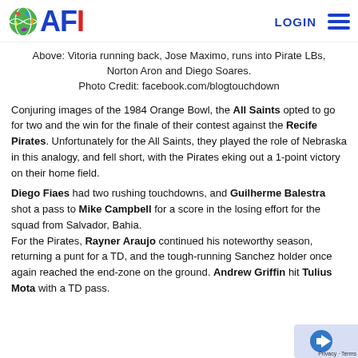AFI — LOGIN
Above: Vitoria running back, Jose Maximo, runs into Pirate LBs, Norton Aron and Diego Soares.
Photo Credit: facebook.com/blogtouchdown
Conjuring images of the 1984 Orange Bowl, the All Saints opted to go for two and the win for the finale of their contest against the Recife Pirates. Unfortunately for the All Saints, they played the role of Nebraska in this analogy, and fell short, with the Pirates eking out a 1-point victory on their home field.
Diego Fiaes had two rushing touchdowns, and Guilherme Balestra shot a pass to Mike Campbell for a score in the losing effort for the squad from Salvador, Bahia.
For the Pirates, Rayner Araujo continued his noteworthy season, returning a punt for a TD, and the tough-running Sanchez holder once again reached the end-zone on the ground. Andrew Griffin hit Tulius Mota with a TD pass.